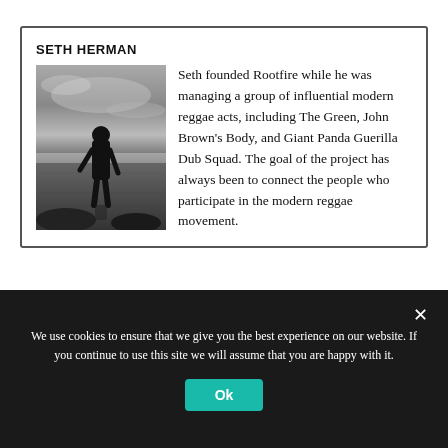SETH HERMAN
[Figure (photo): Black and white photo of a person silhouetted standing in water at dusk or dawn, with a moody sky behind them.]
Seth founded Rootfire while he was managing a group of influential modern reggae acts, including The Green, John Brown's Body, and Giant Panda Guerilla Dub Squad. The goal of the project has always been to connect the people who participate in the modern reggae movement.
Tagged as:  new zealand  rootfire
We use cookies to ensure that we give you the best experience on our website. If you continue to use this site we will assume that you are happy with it.